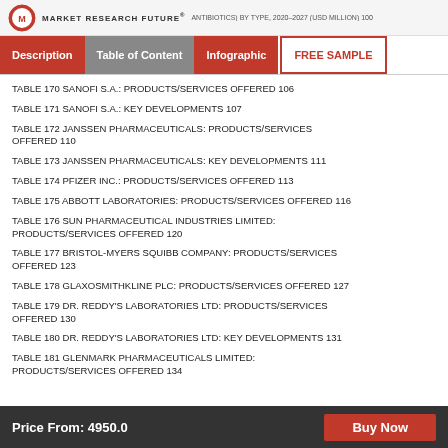MARKET RESEARCH FUTURE®
TABLE 170 SANOFI S.A.: PRODUCTS/SERVICES OFFERED 106
TABLE 171 SANOFI S.A.: KEY DEVELOPMENTS 107
TABLE 172 JANSSEN PHARMACEUTICALS: PRODUCTS/SERVICES OFFERED 110
TABLE 173 JANSSEN PHARMACEUTICALS: KEY DEVELOPMENTS 111
TABLE 174 PFIZER INC.: PRODUCTS/SERVICES OFFERED 113
TABLE 175 ABBOTT LABORATORIES: PRODUCTS/SERVICES OFFERED 116
TABLE 176 SUN PHARMACEUTICAL INDUSTRIES LIMITED: PRODUCTS/SERVICES OFFERED 120
TABLE 177 BRISTOL-MYERS SQUIBB COMPANY: PRODUCTS/SERVICES OFFERED 123
TABLE 178 GLAXOSMITHKLINE PLC: PRODUCTS/SERVICES OFFERED 127
TABLE 179 DR. REDDY'S LABORATORIES LTD: PRODUCTS/SERVICES OFFERED 130
TABLE 180 DR. REDDY'S LABORATORIES LTD: KEY DEVELOPMENTS 131
TABLE 181 GLENMARK PHARMACEUTICALS LIMITED: PRODUCTS/SERVICES OFFERED 134
Price From: 4950.0    Buy Now